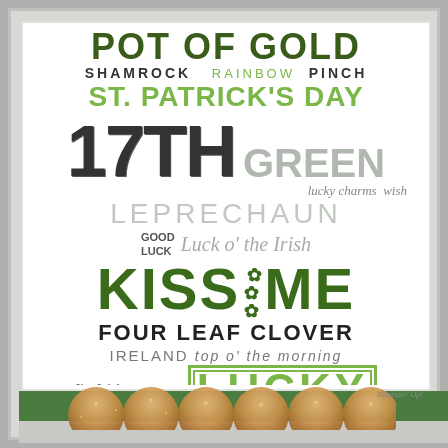[Figure (illustration): St. Patrick's Day themed word art / typography collage in a white frame with green band and gold glitter scallop border at bottom. Features words: POT OF GOLD, SHAMROCK, rainbow, pinch, ST. PATRICK'S DAY, 17TH, GREEN, lucky charms wish, LEPRECHAUN, GOOD LUCK, Luck o' the Irish, KISS ME (with shamrock icons), FOUR LEAF CLOVER, IRELAND, top o' the morning, I'm Irish, MARCH, LUCKY. Stampin' Up! branding at bottom right.]